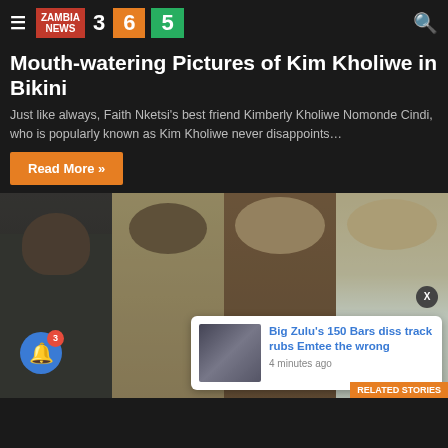ZAMBIA NEWS 3 6 5
Mouth-watering Pictures of Kim Kholiwe in Bikini
Just like always, Faith Nketsi's best friend Kimberly Kholiwe Nomonde Cindi, who is popularly known as Kim Kholiwe never disappoints…
Read More »
[Figure (photo): Four women posing together outdoors against a green leafy background, wearing various fitted dresses and outfits]
Big Zulu's 150 Bars diss track rubs Emtee the wrong
4 minutes ago